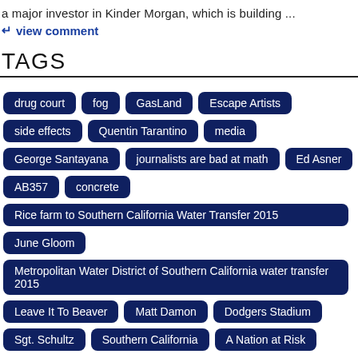a major investor in Kinder Morgan, which is building ...
↵ view comment
TAGS
drug court
fog
GasLand
Escape Artists
side effects
Quentin Tarantino
media
George Santayana
journalists are bad at math
Ed Asner
AB357
concrete
Rice farm to Southern California Water Transfer 2015
June Gloom
Metropolitan Water District of Southern California water transfer 2015
Leave It To Beaver
Matt Damon
Dodgers Stadium
Sgt. Schultz
Southern California
A Nation at Risk